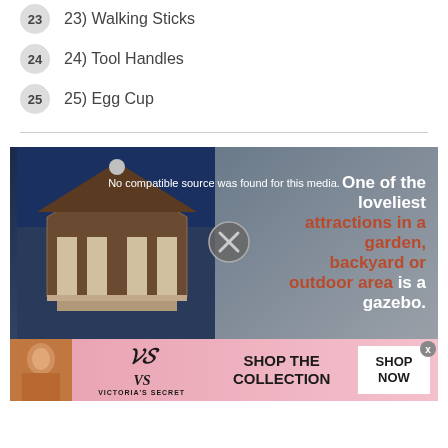23) Walking Sticks
24) Tool Handles
25) Egg Cup
[Figure (photo): Media player showing a gazebo image with text overlay 'One of the loveliest attractions in a garden, backyard or outdoor area is a gazebo.' and a no compatible source error message.]
[Figure (photo): Victoria's Secret advertisement banner with woman photo, VS logo, 'SHOP THE COLLECTION' text and 'SHOP NOW' button.]